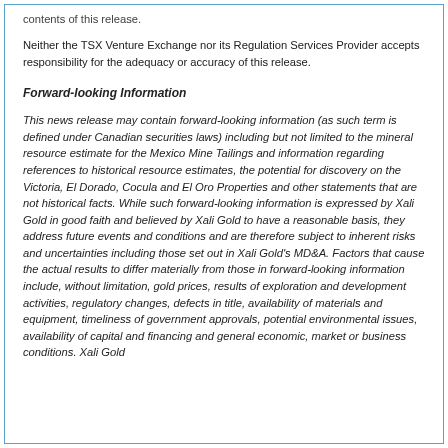contents of this release.
Neither the TSX Venture Exchange nor its Regulation Services Provider accepts responsibility for the adequacy or accuracy of this release.
Forward-looking Information
This news release may contain forward-looking information (as such term is defined under Canadian securities laws) including but not limited to the mineral resource estimate for the Mexico Mine Tailings and information regarding references to historical resource estimates, the potential for discovery on the Victoria, El Dorado, Cocula and El Oro Properties and other statements that are not historical facts. While such forward-looking information is expressed by Xali Gold in good faith and believed by Xali Gold to have a reasonable basis, they address future events and conditions and are therefore subject to inherent risks and uncertainties including those set out in Xali Gold's MD&A. Factors that cause the actual results to differ materially from those in forward-looking information include, without limitation, gold prices, results of exploration and development activities, regulatory changes, defects in title, availability of materials and equipment, timeliness of government approvals, potential environmental issues, availability of capital and financing and general economic, market or business conditions. Xali Gold